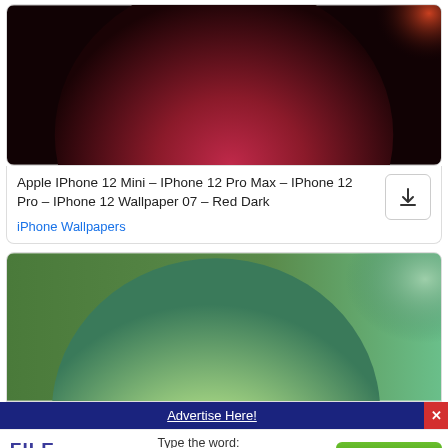[Figure (photo): iPhone wallpaper with a dark red/maroon sphere on a dark background]
Apple IPhone 12 Mini – IPhone 12 Pro Max – IPhone 12 Pro – IPhone 12 Wallpaper 07 – Red Dark
iPhone Wallpapers
[Figure (photo): iPhone wallpaper with a yellow-green sphere on a green gradient background]
Advertise Here!
FILE
refresh
Type the word:
DOWNLOAD
advertica.com